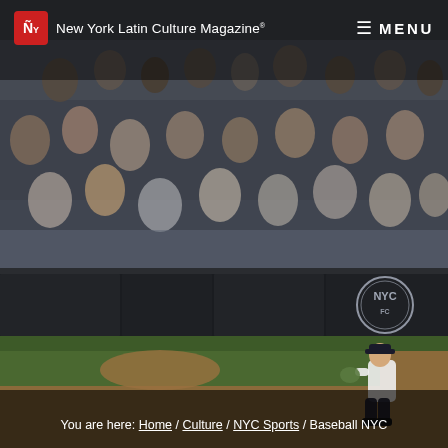[Figure (photo): Baseball stadium photo showing a pitcher on the mound at Yankee Stadium with spectators in the stands and the NYC FC logo on the outfield wall. Dark atmospheric lighting.]
NY New York Latin Culture Magazine  MENU
You are here: Home / Culture / NYC Sports / Baseball NYC